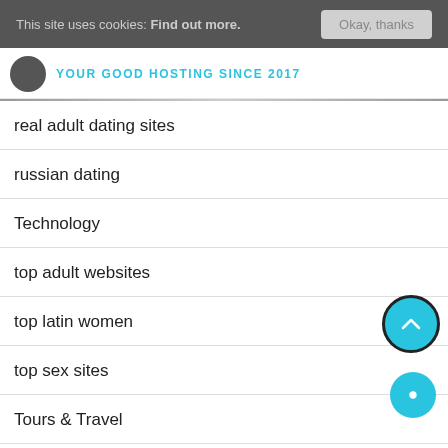This site uses cookies: Find out more.  Okay, thanks
[Figure (logo): Website logo with cloud icon and text YOUR GOOD HOSTING SINCE 2017 in cyan]
real adult dating sites
russian dating
Technology
top adult websites
top latin women
top sex sites
Tours & Travel
Ukrainian Women Most Beautiful